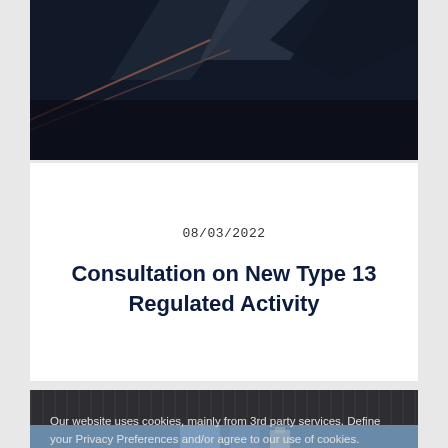[Figure (photo): Dark abstract background photo, top of page card]
08/03/2022
Consultation on New Type 13 Regulated Activity
Our website uses cookies, mainly from 3rd party services. Define your Privacy Preferences and/or agree to our use of cookies.
Privacy Preferences
I Agree
[Figure (photo): Blue building exterior photo strip at bottom]